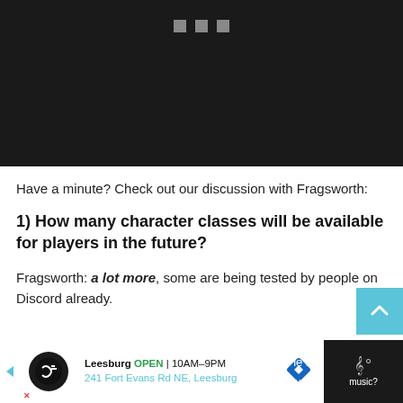[Figure (screenshot): Dark/black video player with three small grey square dots at top center, indicating a loading or media control interface]
Have a minute? Check out our discussion with Fragsworth:
1) How many character classes will be available for players in the future?
Fragsworth: a lot more, some are being tested by people on Discord already.
[Figure (screenshot): Bottom footer bar: advertisement overlay for Leesburg store (OPEN 10AM-9PM, 241 Fort Evans Rd NE, Leesburg) with logo and navigation icon, and partial dark footer with music/dots icon on the right. Partial question 2 visible on the dark bar.]